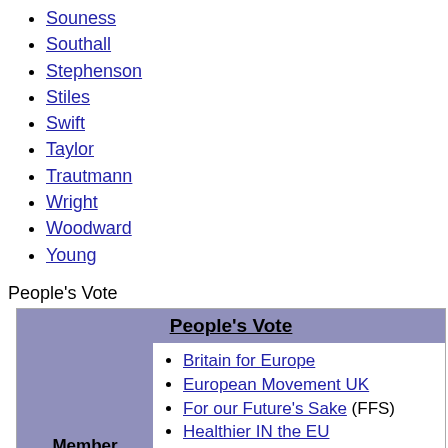Souness
Southall
Stephenson
Stiles
Swift
Taylor
Trautmann
Wright
Woodward
Young
People's Vote
| People's Vote |
| --- |
| Member organisations | Britain for Europe, European Movement UK, For our Future's Sake (FFS), Healthier IN the EU, InFacts, Open Britain, Our Future Our Choice (OFOC), Scientists for EU, Wales for Europe |
|  | Lord Adonis, Catherine Bearder... |